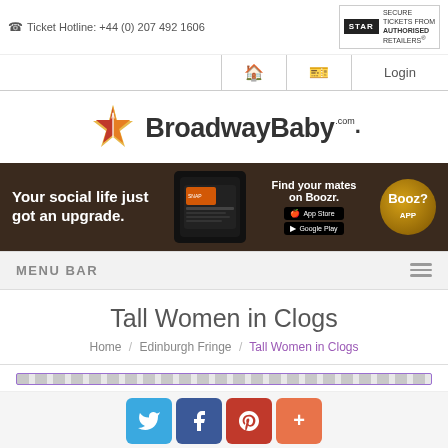Ticket Hotline: +44 (0) 207 492 1606
[Figure (logo): STAR - Secure Tickets from Authorised Retailers badge]
[Figure (logo): BroadwayBaby.com logo with star graphic]
[Figure (infographic): Boozr app advertisement banner: 'Your social life just got an upgrade. Find your mates on Boozr.' with App Store and Google Play buttons]
MENU BAR
Tall Women in Clogs
Home / Edinburgh Fringe / Tall Women in Clogs